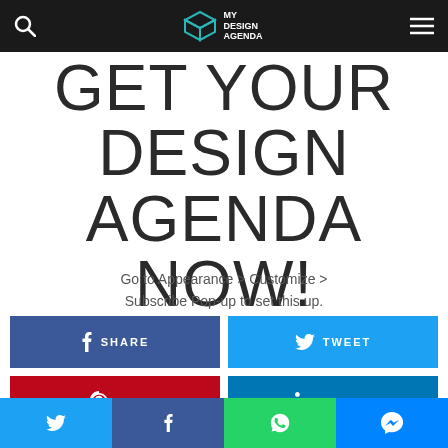MY DESIGN AGENDA (navigation bar with logo, search, and menu icons)
GET YOUR DESIGN AGENDA NOW!
Go to Appearance > Customize > Subscribe Pop-up to set this up.
[Figure (infographic): Four social sharing buttons: SHARE (Facebook, dark blue), TWEET (Twitter, light blue), PIN (Pinterest, red), SHARE (LinkedIn, teal blue)]
Bottom social bar with Twitter, Facebook, WhatsApp, and Messenger icons